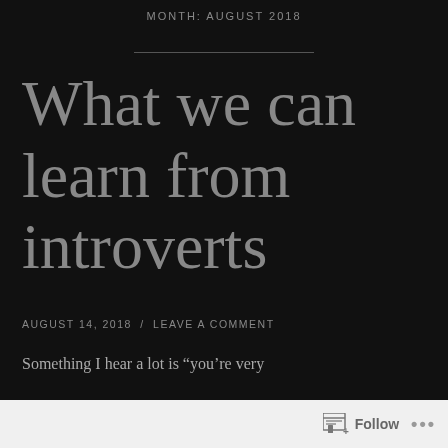MONTH: AUGUST 2018
What we can learn from introverts
AUGUST 14, 2018  /  LEAVE A COMMENT
Something I hear a lot is “you’re very
Follow